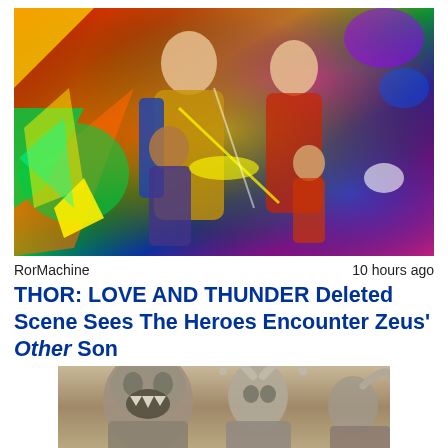[Figure (photo): Thor: Love and Thunder movie poster showing Thor, Jane Foster, Valkyrie, and Gorr's daughter against a colorful cosmic background]
RorMachine	10 hours ago
THOR: LOVE AND THUNDER Deleted Scene Sees The Heroes Encounter Zeus' Other Son
[Figure (photo): Gray-toned figurines or artwork of monstrous/orc-like warrior characters with horns and armor]